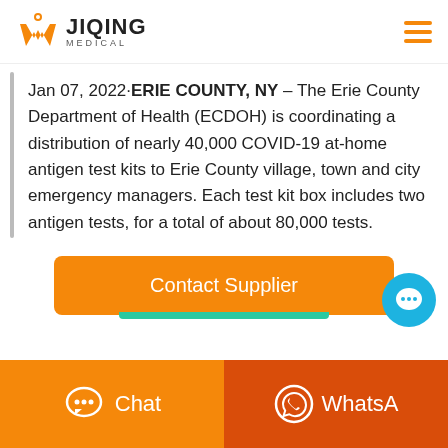[Figure (logo): Jiqing Medical logo with orange W icon and text JIQING MEDICAL]
Jan 07, 2022·ERIE COUNTY, NY – The Erie County Department of Health (ECDOH) is coordinating a distribution of nearly 40,000 COVID-19 at-home antigen test kits to Erie County village, town and city emergency managers. Each test kit box includes two antigen tests, for a total of about 80,000 tests.
[Figure (screenshot): Contact Supplier orange button with teal underline]
[Figure (screenshot): Bottom bar with orange Chat button and dark orange WhatsApp button]